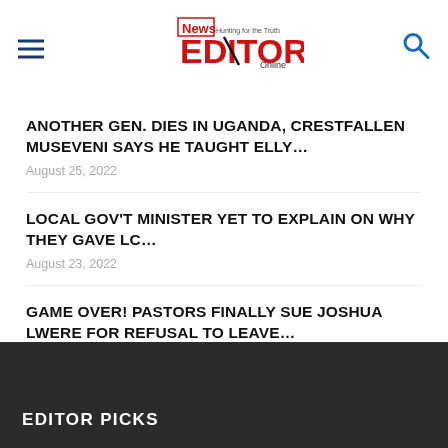News Editor Online
ANOTHER GEN. DIES IN UGANDA, CRESTFALLEN MUSEVENI SAYS HE TAUGHT ELLY...
August 25, 2022
LOCAL GOV'T MINISTER YET TO EXPLAIN ON WHY THEY GAVE LC...
August 23, 2022
GAME OVER! PASTORS FINALLY SUE JOSHUA LWERE FOR REFUSAL TO LEAVE...
August 22, 2022
EDITOR PICKS